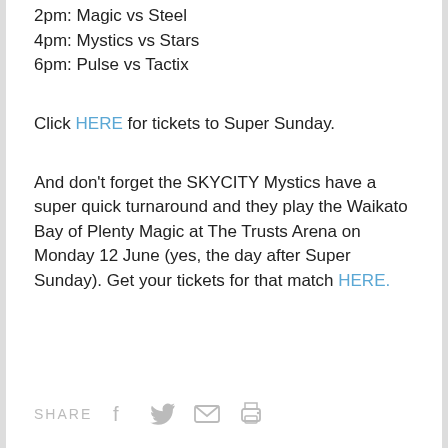2pm: Magic vs Steel
4pm: Mystics vs Stars
6pm: Pulse vs Tactix
Click HERE for tickets to Super Sunday.
And don't forget the SKYCITY Mystics have a super quick turnaround and they play the Waikato Bay of Plenty Magic at The Trusts Arena on Monday 12 June (yes, the day after Super Sunday). Get your tickets for that match HERE.
SHARE